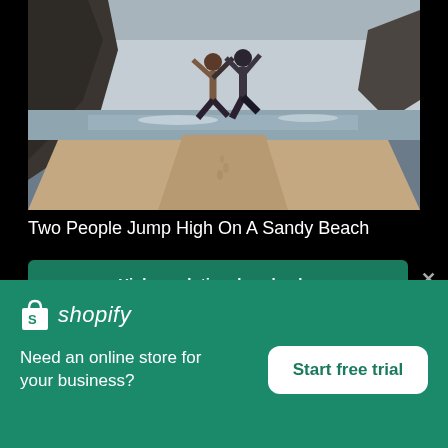[Figure (photo): Two people jumping high on a sandy beach with rocky cliffs in the background and overcast sky]
Two People Jump High On A Sandy Beach
High resolution download ↓
[Figure (logo): Shopify logo with shopping bag icon and italic 'shopify' text in white on green background]
Need an online store for your business?
Start free trial